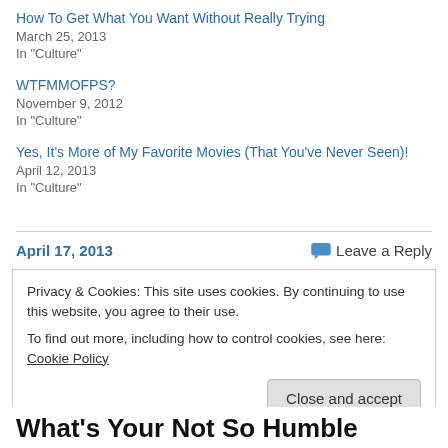How To Get What You Want Without Really Trying
March 25, 2013
In "Culture"
WTFMMOFPS?
November 9, 2012
In "Culture"
Yes, It's More of My Favorite Movies (That You've Never Seen)!
April 12, 2013
In "Culture"
April 17, 2013   Leave a Reply
Privacy & Cookies: This site uses cookies. By continuing to use this website, you agree to their use. To find out more, including how to control cookies, see here: Cookie Policy
Close and accept
What's Your Not So Humble